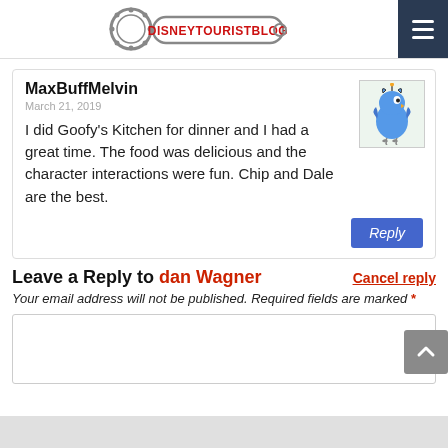DISNEYTOURISTBLOG
MaxBuffMelvin
March 21, 2019
I did Goofy's Kitchen for dinner and I had a great time. The food was delicious and the character interactions were fun. Chip and Dale are the best.
Leave a Reply to dan Wagner   Cancel reply
Your email address will not be published. Required fields are marked *